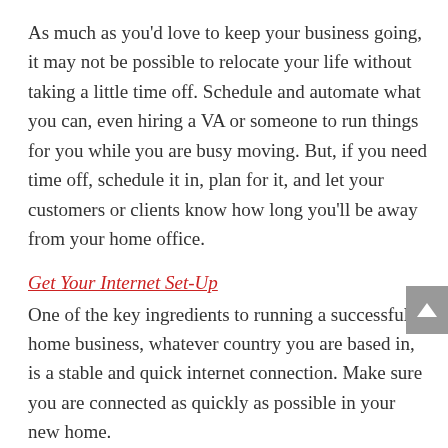As much as you'd love to keep your business going, it may not be possible to relocate your life without taking a little time off. Schedule and automate what you can, even hiring a VA or someone to run things for you while you are busy moving. But, if you need time off, schedule it in, plan for it, and let your customers or clients know how long you'll be away from your home office.
Get Your Internet Set-Up
One of the key ingredients to running a successful home business, whatever country you are based in, is a stable and quick internet connection. Make sure you are connected as quickly as possible in your new home.